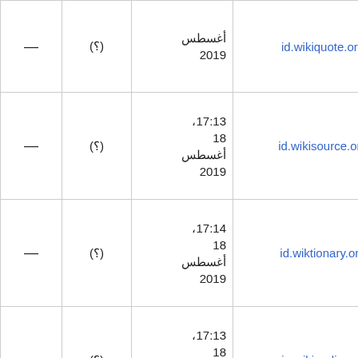| — | (?) | date | link |
| --- | --- | --- | --- |
| — | (?) | أغسطس
2019 | id.wikiquote.org |
| — | (?) | 17:13،
18
أغسطس
2019 | id.wikisource.org |
| — | (?) | 17:14،
18
أغسطس
2019 | id.wiktionary.org |
| — | (?) | 17:13،
18
أغسطس
2019 | ie.wikipedia.org |
| — | (?) | 17:14،
18 |  |